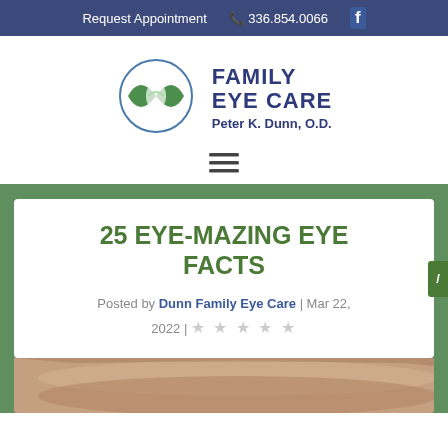Request Appointment  336.854.0066
[Figure (logo): Family Eye Care circular logo with green eye/leaf design]
Family Eye Care
Peter K. Dunn, O.D.
[Figure (other): Hamburger menu icon (three horizontal lines)]
25 EYE-MAZING EYE FACTS
Posted by Dunn Family Eye Care | Mar 22, 2022 | ☆☆☆☆☆
[Figure (photo): Close-up photo of a human eye]